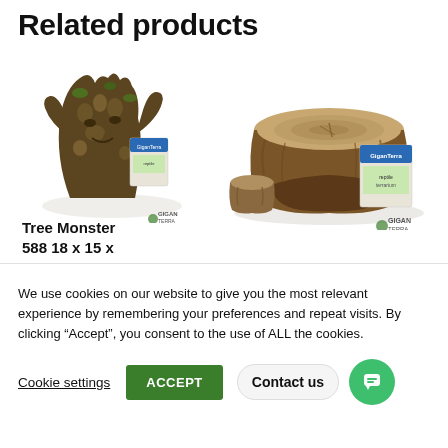Related products
[Figure (photo): Tree Monster 588 terrarium decoration - a resin sculpture resembling tree faces/monsters with GiganTerra branding label]
[Figure (photo): Tree stump style terrarium hide/platform with GiganTerra branding label]
Tree Monster 588 18 x 15 x
We use cookies on our website to give you the most relevant experience by remembering your preferences and repeat visits. By clicking “Accept”, you consent to the use of ALL the cookies.
Cookie settings
ACCEPT
Contact us